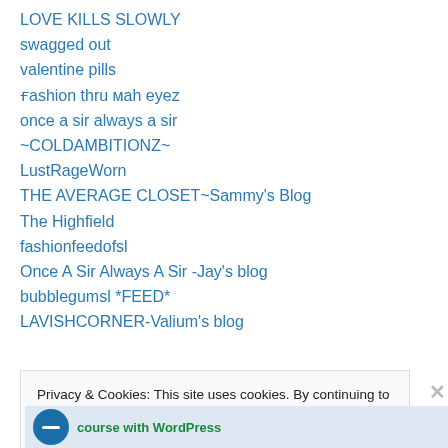LOVE KILLS SLOWLY
swagged out
valentine pills
ғashion thru мah eyez
once a sir always a sir
~COLDAMBITIONZ~
LustRageWorn
THE AVERAGE CLOSET~Sammy's Blog
The Highfield
fashionfeedofsl
Once A Sir Always A Sir -Jay's blog
bubblegumsl *FEED*
LAVISHCORNER-Valium's blog
Privacy & Cookies: This site uses cookies. By continuing to use this website, you agree to their use. To find out more, including how to control cookies, see here: Cookie Policy
Close and accept